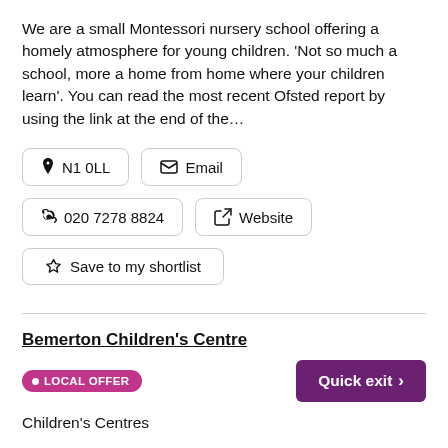We are a small Montessori nursery school offering a homely atmosphere for young children. 'Not so much a school, more a home from home where your children learn'. You can read the most recent Ofsted report by using the link at the end of the…
N1 0LL
Email
020 7278 8824
Website
Save to my shortlist
Bemerton Children's Centre
LOCAL OFFER
Quick exit >
Children's Centres